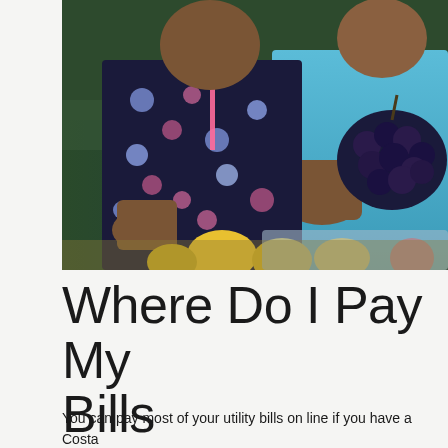[Figure (photo): Two people standing at an outdoor market stall. A woman in a floral print top (dark with pink and light blue flowers) stands on the left with hands in her pockets. A man in a light blue button-up shirt stands on the right, handling dark grapes. Yellow fruits (possibly mangoes) are visible in the foreground.]
Where Do I Pay My Bills
You can pay most of your utility bills on line if you have a Costa Rica bank account. If you deal with a non-Costa Rican bank, you